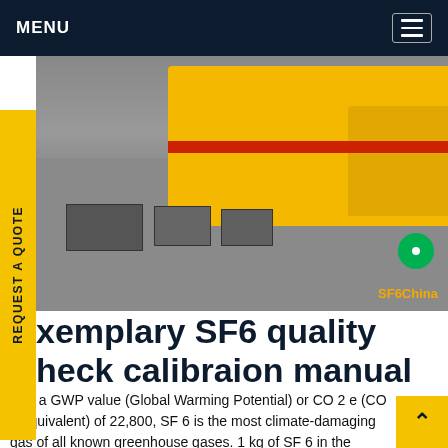MENU
[Figure (photo): A yellow truck parked on a gravel surface with SF6 gas testing equipment cases laid out in front of it. Watermark reads SF6China.]
xemplary SF6 quality heck calibraion manual
with a GWP value (Global Warming Potential) or CO 2 e (CO 2 equivalent) of 22,800, SF 6 is the most climate-damaging gas of all known greenhouse gases. 1 kg of SF 6 in the atmosphere contributes to